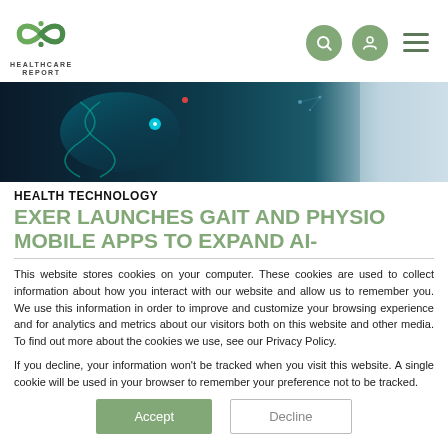HEALTHCARE REPORT
[Figure (photo): Hero banner image showing a blue-toned science/DNA/technology scene with a person in lab coat on right side.]
HEALTH TECHNOLOGY
EXER LAUNCHES GAIT AND PHYSIO MOBILE APPS TO EXPAND AI-
This website stores cookies on your computer. These cookies are used to collect information about how you interact with our website and allow us to remember you. We use this information in order to improve and customize your browsing experience and for analytics and metrics about our visitors both on this website and other media. To find out more about the cookies we use, see our Privacy Policy.
If you decline, your information won't be tracked when you visit this website. A single cookie will be used in your browser to remember your preference not to be tracked.
Accept | Decline